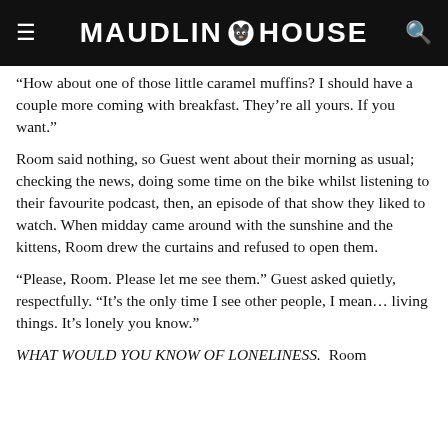MAUDLIN HOUSE
“How about one of those little caramel muffins? I should have a couple more coming with breakfast. They’re all yours. If you want.”
Room said nothing, so Guest went about their morning as usual; checking the news, doing some time on the bike whilst listening to their favourite podcast, then, an episode of that show they liked to watch. When midday came around with the sunshine and the kittens, Room drew the curtains and refused to open them.
“Please, Room. Please let me see them.” Guest asked quietly, respectfully. “It’s the only time I see other people, I mean… living things. It’s lonely you know.”
WHAT WOULD YOU KNOW OF LONELINESS.  Room